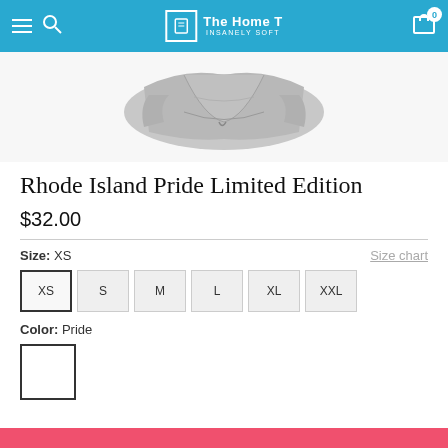The Home T — INSANELY SOFT
[Figure (photo): Folded gray t-shirt product photo on white background]
Rhode Island Pride Limited Edition
$32.00
Size: XS
Size chart
XS | S | M | L | XL | XXL
Color: Pride